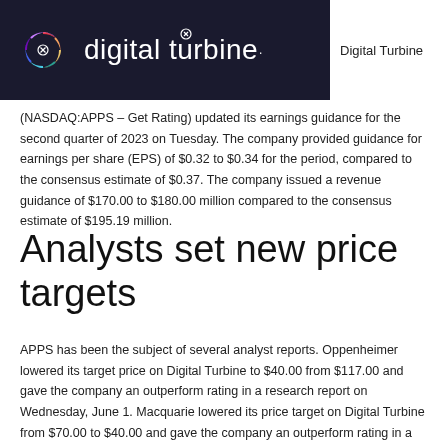[Figure (logo): Digital Turbine logo on dark background, with colorful swirl icon and white text 'digital turbine', plus 'Digital Turbine' text on white area to the right]
(NASDAQ:APPS – Get Rating) updated its earnings guidance for the second quarter of 2023 on Tuesday. The company provided guidance for earnings per share (EPS) of $0.32 to $0.34 for the period, compared to the consensus estimate of $0.37. The company issued a revenue guidance of $170.00 to $180.00 million compared to the consensus estimate of $195.19 million.
Analysts set new price targets
APPS has been the subject of several analyst reports. Oppenheimer lowered its target price on Digital Turbine to $40.00 from $117.00 and gave the company an outperform rating in a research report on Wednesday, June 1. Macquarie lowered its price target on Digital Turbine from $70.00 to $40.00 and gave the company an outperform rating in a research report on Wednesday, June 1.